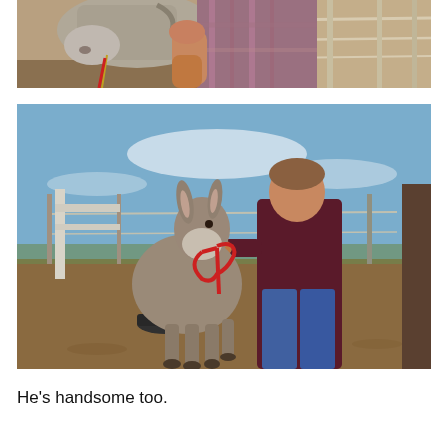[Figure (photo): Close-up photo of a person in a plaid shirt handling a horse (grey/white) by the face/nose, with a red lead rope, near a wire fence in an outdoor farm setting.]
[Figure (photo): Photo of a man in a dark maroon/burgundy long-sleeve shirt and blue jeans standing with a small donkey on a red lead rope in a dirt paddock, with wire fencing and blue sky in the background.]
He's handsome too.